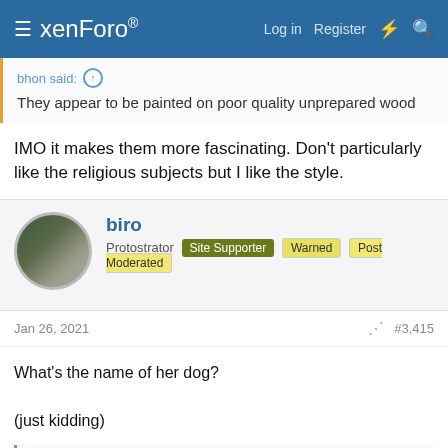xenForo — Log in  Register
bhon said: They appear to be painted on poor quality unprepared wood
IMO it makes them more fascinating. Don't particularly like the religious subjects but I like the style.
biro
Protostrator  Site Supporter  Warned  Post Moderated
Jan 26, 2021  #3,415
What's the name of her dog?

(just kidding)
Dominika
Dominika
Member  Site Moderator  ...